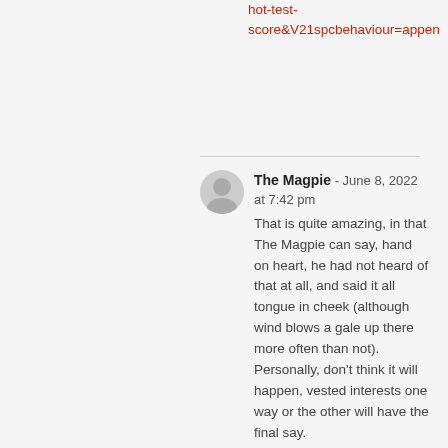hot-test-score&V21spcbehaviour=appen
The Magpie - June 8, 2022 at 7:42 pm
That is quite amazing, in that The Magpie can say, hand on heart, he had not heard of that at all, and said it all tongue in cheek (although wind blows a gale up there more often than not). Personally, don't think it will happen, vested interests one way or the other will have the final say.